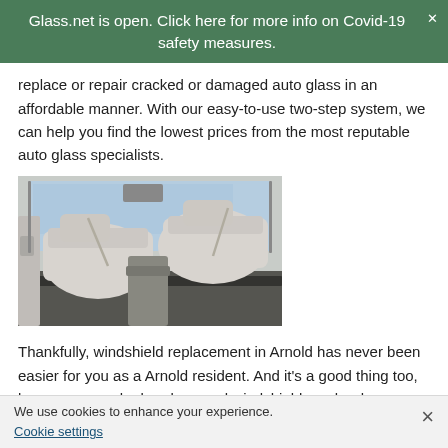Glass.net is open. Click here for more info on Covid-19 safety measures.
replace or repair cracked or damaged auto glass in an affordable manner. With our easy-to-use two-step system, we can help you find the lowest prices from the most reputable auto glass specialists.
[Figure (photo): Interior photo of a luxury car showing cream/white leather seats and dashboard, taken from the back seat looking forward.]
Thankfully, windshield replacement in Arnold has never been easier for you as a Arnold resident. And it's a good thing too, because a cracked or damaged windshield can be dangerous for both you and your passengers. Even more, it's entirely possible that driving with a damaged windshield in Missouri is against the law.
We use cookies to enhance your experience.
Cookie settings